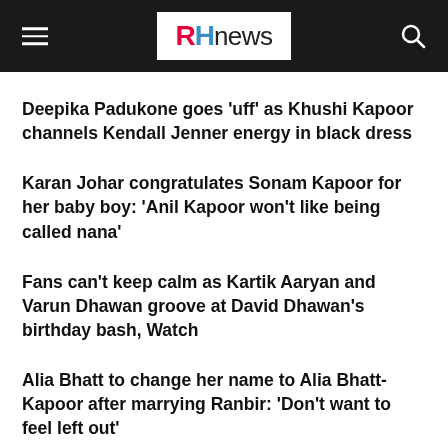RHnews
Deepika Padukone goes ‘uff’ as Khushi Kapoor channels Kendall Jenner energy in black dress
Karan Johar congratulates Sonam Kapoor for her baby boy: ‘Anil Kapoor won’t like being called nana’
Fans can’t keep calm as Kartik Aaryan and Varun Dhawan groove at David Dhawan’s birthday bash, Watch
Alia Bhatt to change her name to Alia Bhatt-Kapoor after marrying Ranbir: ‘Don’t want to feel left out’